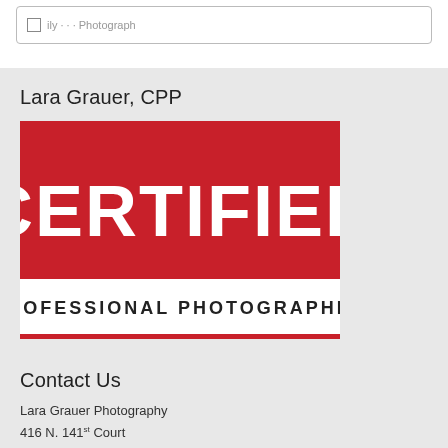[Figure (screenshot): Partial view of a checkbox UI element with label text partially visible, inside a rounded-rectangle border box]
Lara Grauer, CPP
[Figure (logo): Certified Professional Photographer badge: red rectangle with white bold text CERTIFIED, below dark text PROFESSIONAL PHOTOGRAPHER on white background with red underline]
Contact Us
Lara Grauer Photography
416 N. 141st Court
Seattle, WA 98133
Phone: (206) 724-2177
Email: lara@laragrauerphotography.com